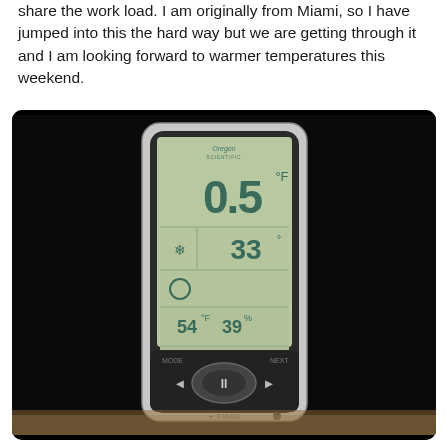share the work load. I am originally from Miami, so I have jumped into this the hard way but we are getting through it and I am looking forward to warmer temperatures this weekend.
[Figure (photo): Photo of an Oregon Scientific weather station device displaying temperature readings. The LCD screen shows 0.5°F in large digits, 33 in another section, 54°F and 39% humidity, and a time of 8:08 with 49 seconds. The device has navigation buttons at the bottom including a central oval button with arrows. The device is photographed against a dark/black background on what appears to be a countertop.]